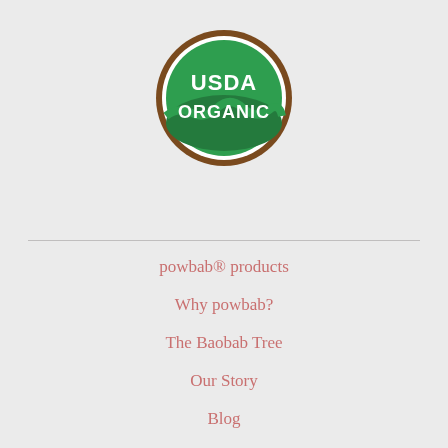[Figure (logo): USDA Organic circular logo with brown border, green background, white text reading USDA ORGANIC]
powbab® products
Why powbab?
The Baobab Tree
Our Story
Blog
Recipes
Ambassadors
Contact Us